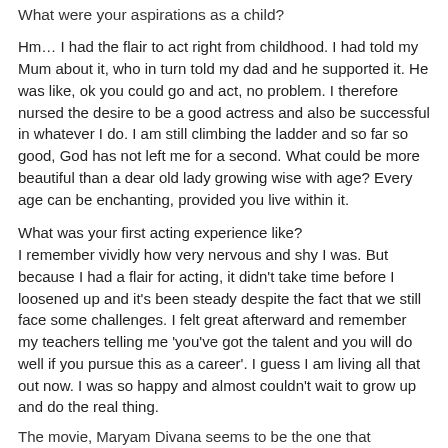What were your aspirations as a child?
Hm… I had the flair to act right from childhood. I had told my Mum about it, who in turn told my dad and he supported it. He was like, ok you could go and act, no problem. I therefore nursed the desire to be a good actress and also be successful in whatever I do. I am still climbing the ladder and so far so good, God has not left me for a second. What could be more beautiful than a dear old lady growing wise with age? Every age can be enchanting, provided you live within it.
What was your first acting experience like?
I remember vividly how very nervous and shy I was. But because I had a flair for acting, it didn't take time before I loosened up and it's been steady despite the fact that we still face some challenges. I felt great afterward and remember my teachers telling me 'you've got the talent and you will do well if you pursue this as a career'. I guess I am living all that out now. I was so happy and almost couldn't wait to grow up and do the real thing.
The movie, Maryam Divana seems to be the one that